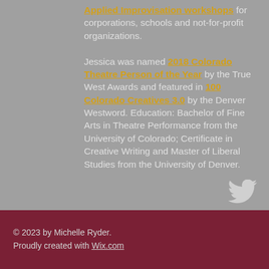Applied Improvisation workshops for corporations, schools and not-for-profit organizations.

Jessica was named 2018 Colorado Theatre Person of the Year by the True West Awards and featured in 100 Colorado Creatives 3.0 by the Denver Westword. Education: Bachelor of Fine Arts in Theatre Performance from the University of Colorado; Certificate in Creative Writing and Master of Liberal Studies from the University of Denver.
[Figure (illustration): Twitter bird icon in white/light gray]
© 2023 by Michelle Ryder. Proudly created with Wix.com